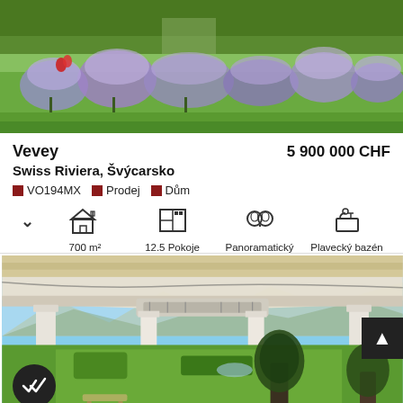[Figure (photo): Aerial view of a garden with lavender flowers and green lawn]
Vevey   5 900 000 CHF
Swiss Riviera, Švýcarsko
VO194MX  Prodej  Dům
700 m²   12.5 Pokoje   Panoramatický   Plavecký bazén
[Figure (photo): Gazebo/pergola with white columns overlooking a green garden and mountains]